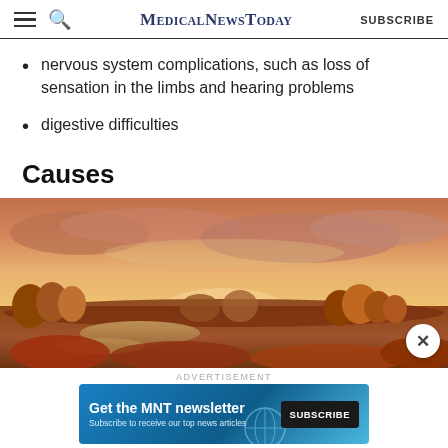MedicalNewsToday  SUBSCRIBE
nervous system complications, such as loss of sensation in the limbs and hearing problems
digestive difficulties
Causes
[Figure (photo): Panoramic landscape photo showing a meadow with a river or stream, autumn-colored trees in the background, and a dramatic pink and orange cloudy sunset sky]
ADVERTISEMENT
[Figure (infographic): Blue advertisement banner for MNT newsletter with text 'Get the MNT newsletter', 'Subscribe to receive our top news articles', and a SUBSCRIBE button]